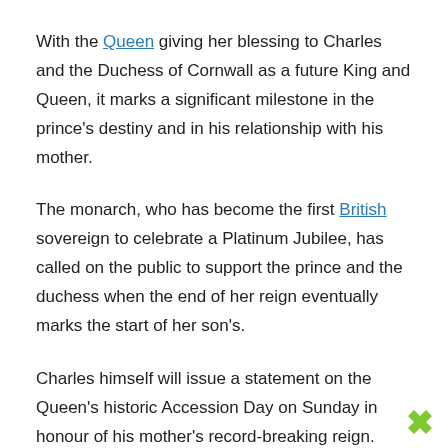With the Queen giving her blessing to Charles and the Duchess of Cornwall as a future King and Queen, it marks a significant milestone in the prince's destiny and in his relationship with his mother.
The monarch, who has become the first British sovereign to celebrate a Platinum Jubilee, has called on the public to support the prince and the duchess when the end of her reign eventually marks the start of her son's.
Charles himself will issue a statement on the Queen's historic Accession Day on Sunday in honour of his mother's record-breaking reign.